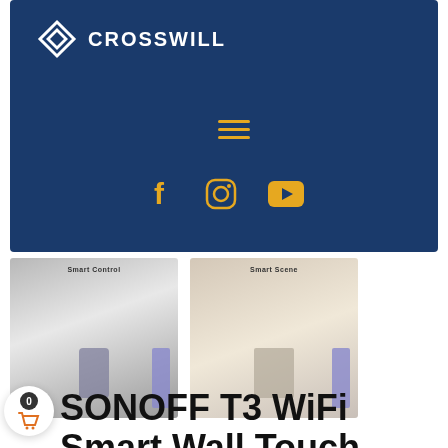[Figure (screenshot): Crosswill brand website header with dark navy blue background, Crosswill logo top left, hamburger menu icon in center, and three social media icons (Facebook, Instagram, YouTube) in gold/yellow color]
[Figure (photo): Two product thumbnail images showing women using a smart home app on a smartphone and reading, with a blue sidebar UI element]
SONOFF T3 WiFi Smart Wall Touch Switch 1/2/3Gang WiFi Wall